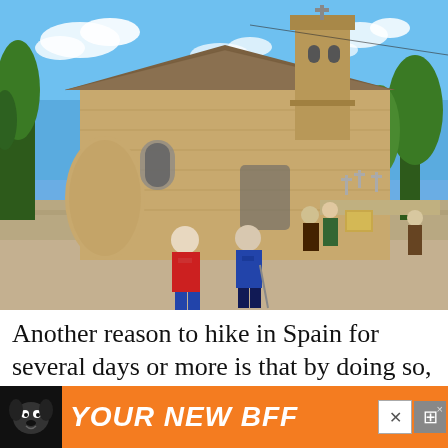[Figure (photo): Two hikers with backpacks and trekking poles approach a historic Romanesque stone church with a bell tower. Several other people stand near the entrance. A cemetery with crosses is visible to the right. Blue sky with clouds in background.]
Another reason to hike in Spain for several days or more is that by doing so, you're su
[Figure (other): Advertisement banner with orange background showing a cartoon dog and text 'YOUR NEW BFF' with close buttons]